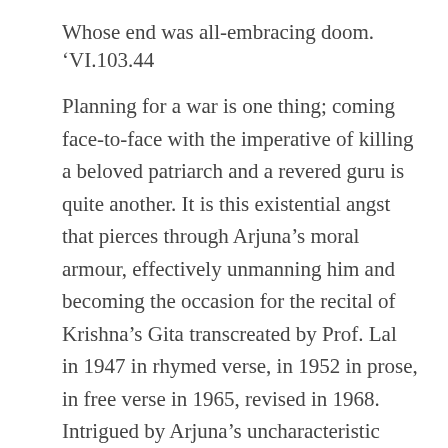Whose end was all-embracing doom. ‘VI.103.44
Planning for a war is one thing; coming face-to-face with the imperative of killing a beloved patriarch and a revered guru is quite another. It is this existential angst that pierces through Arjuna’s moral armour, effectively unmanning him and becoming the occasion for the recital of Krishna’s Gita transcreated by Prof. Lal in 1947 in rhymed verse, in 1952 in prose, in free verse in 1965, revised in 1968. Intrigued by Arjuna’s uncharacteristic collapse and not finding answers in theGita, he embarked upon the epic journey of transcreating the entirety of Vyasa’s composition verse-by-verse. I will skirt this